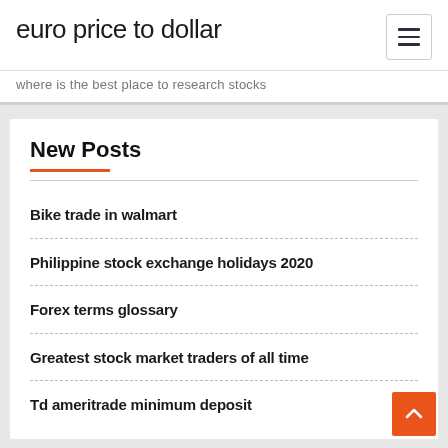euro price to dollar
where is the best place to research stocks
New Posts
Bike trade in walmart
Philippine stock exchange holidays 2020
Forex terms glossary
Greatest stock market traders of all time
Td ameritrade minimum deposit